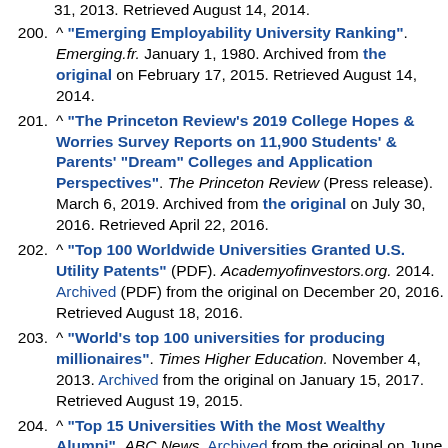31, 2013. Retrieved August 14, 2014.
200. ^ "Emerging Employability University Ranking". Emerging.fr. January 1, 1980. Archived from the original on February 17, 2015. Retrieved August 14, 2014.
201. ^ "The Princeton Review's 2019 College Hopes & Worries Survey Reports on 11,900 Students' & Parents' "Dream" Colleges and Application Perspectives". The Princeton Review (Press release). March 6, 2019. Archived from the original on July 30, 2016. Retrieved April 22, 2016.
202. ^ "Top 100 Worldwide Universities Granted U.S. Utility Patents" (PDF). Academyofinvestors.org. 2014. Archived (PDF) from the original on December 20, 2016. Retrieved August 18, 2016.
203. ^ "World's top 100 universities for producing millionaires". Times Higher Education. November 4, 2013. Archived from the original on January 15, 2017. Retrieved August 19, 2015.
204. ^ "Top 15 Universities With the Most Wealthy Alumni". ABC News. Archived from the original on June 30, 2015. Retrieved September 26.